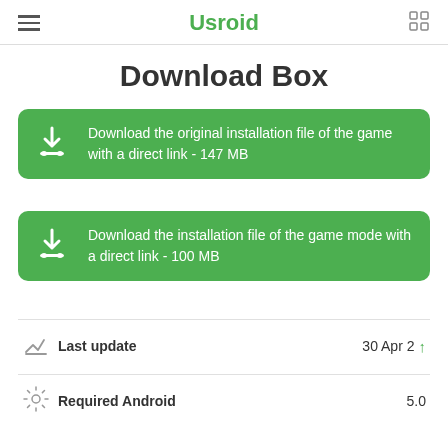Usroid
Download Box
Download the original installation file of the game with a direct link - 147 MB
Download the installation file of the game mode with a direct link - 100 MB
Last update  30 Apr 2...
Required Android  5.0